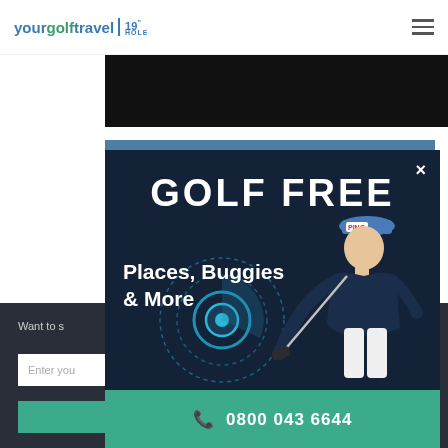yourgolftravel 19" HOLE
[Figure (screenshot): Dark video/image strip partial view of golf course]
The Ocean Course at Kiawah Island
[Figure (infographic): Dark navy modal popup with 'GOLF FREE' headline, 'Places, Buggies & More' subtext, golfer swinging club, radar circle graphic, and teal call button showing 0800 043 6644]
Want to s
Enter you
0800 043 6644